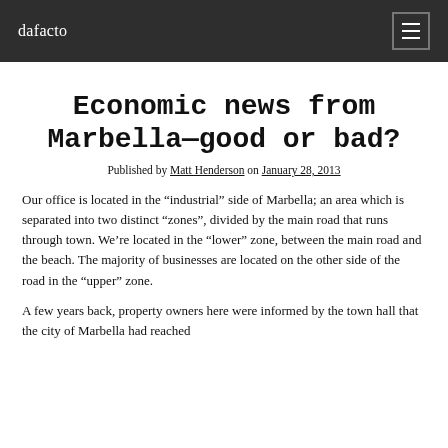dafacto
Economic news from Marbella—good or bad?
Published by Matt Henderson on January 28, 2013
Our office is located in the “industrial” side of Marbella; an area which is separated into two distinct “zones”, divided by the main road that runs through town. We’re located in the “lower” zone, between the main road and the beach. The majority of businesses are located on the other side of the road in the “upper” zone.
A few years back, property owners here were informed by the town hall that the city of Marbella had reached